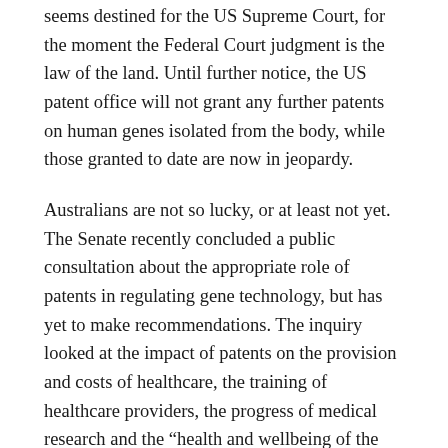seems destined for the US Supreme Court, for the moment the Federal Court judgment is the law of the land. Until further notice, the US patent office will not grant any further patents on human genes isolated from the body, while those granted to date are now in jeopardy.
Australians are not so lucky, or at least not yet. The Senate recently concluded a public consultation about the appropriate role of patents in regulating gene technology, but has yet to make recommendations. The inquiry looked at the impact of patents on the provision and costs of healthcare, the training of healthcare providers, the progress of medical research and the “health and wellbeing of the Australian people”.
Its findings have been delayed due to the “complex nature of many issues associated with this inquiry” (and, it is rumoured, the well-funded and vociferous lobbying efforts